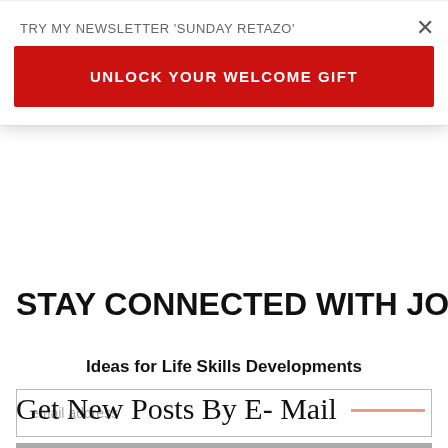TRY MY NEWSLETTER 'SUNDAY RETAZO'
UNLOCK YOUR WELCOME GIFT
STAY CONNECTED WITH JOE'S LAB
Ideas for Life Skills Developments
email address
Subscribe
Get New Posts By E- Mail